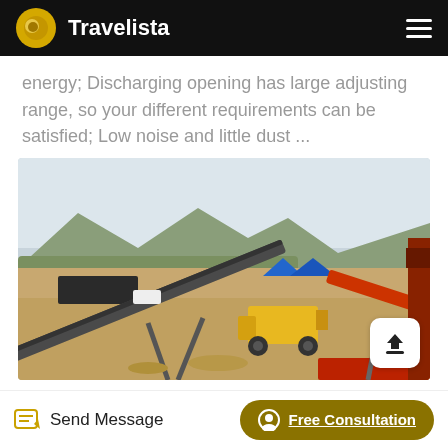Travelista
energy; Discharging opening has large adjusting range, so your different requirements can be satisfied; Low noise and little dust ...
[Figure (photo): Outdoor industrial mining/crushing plant site with conveyor belts, a yellow front loader/bulldozer, and mountains in the background. Blue tarp-covered structures visible. Industrial machinery including red conveyor on the right.]
Send Message | Free Consultation